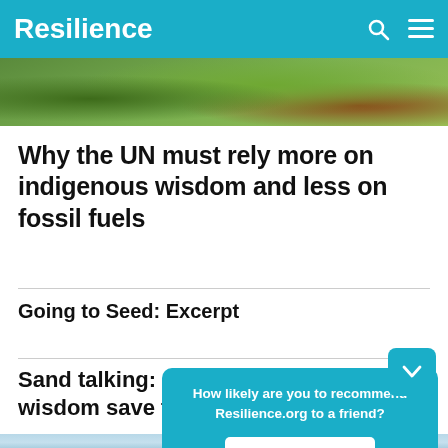Resilience
[Figure (photo): Close-up photo of green tropical leaves and vegetation]
Why the UN must rely more on indigenous wisdom and less on fossil fuels
Going to Seed: Excerpt
Sand talking: can indigenous wisdom save the world?
How likely are you to recommend Resilience.org to a friend?
Reply
[Figure (photo): Partial view of a coastal or sky scene at the bottom of the page]